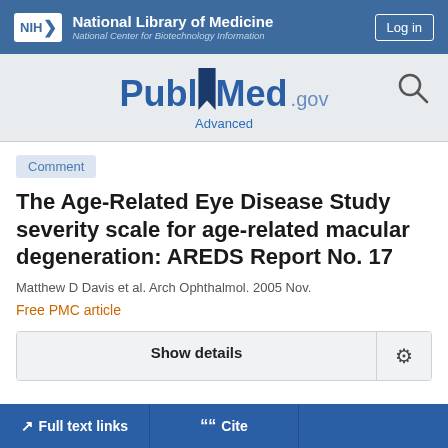[Figure (screenshot): NIH National Library of Medicine / National Center for Biotechnology Information header bar with login button]
[Figure (logo): PubMed.gov logo with search icon and Advanced link]
Comment
The Age-Related Eye Disease Study severity scale for age-related macular degeneration: AREDS Report No. 17
Matthew D Davis et al. Arch Ophthalmol. 2005 Nov.
Free PMC article
Show details
Full text links
Cite